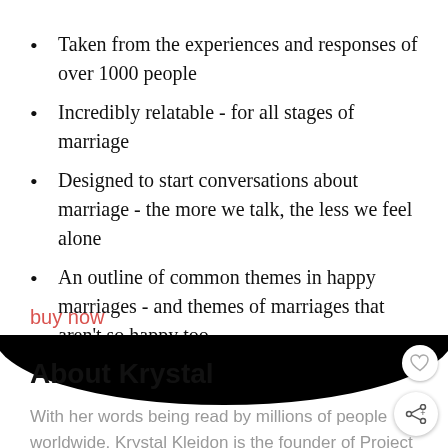Taken from the experiences and responses of over 1000 people
Incredibly relatable - for all stages of marriage
Designed to start conversations about marriage - the more we talk, the less we feel alone
An outline of common themes in happy marriages - and themes of marriages that aren't so happy too
buy now
[Figure (photo): Dark curved shape, possibly a product image with a black elliptical form]
About Krystal
With her words being read by millions of people worldwide, Krystal Kleidon is the founder of Project Hot